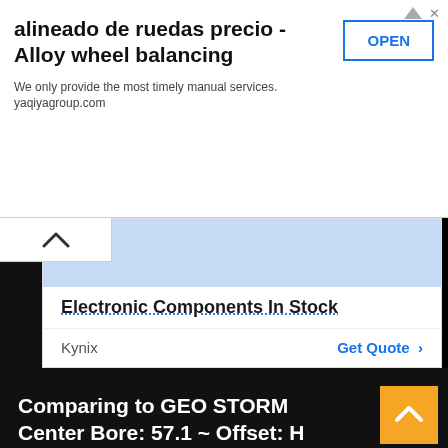[Figure (screenshot): Advertisement banner for 'alineado de ruedas precio - Alloy wheel balancing' with OPEN button, subtext 'We only provide the most timely manual services. yaqiyagroup.com']
[Figure (screenshot): Kynix advertisement panel with blue header strip showing 'Electronic Components In Stock' title with dotted underline, and footer with 'Kynix' name and 'Get Quote >' link]
Comparing to GEO STORM Center Bore: 57.1 ~ Offset: H
Vehicle Make(s) with 4 X 100 Bolt Pattern: